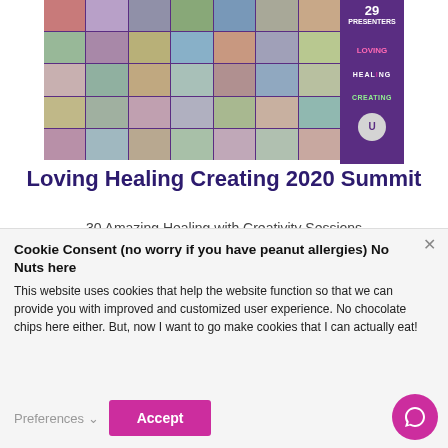[Figure (photo): Grid of presenter headshots for the Loving Healing Creating 2020 Summit, with '29 Presenters' badge and 'LOVING', 'HEALING', 'CREATING' labels on the right side in purple background]
Loving Healing Creating 2020 Summit
30 Amazing Healing with Creativity Sessions
Cookie Consent (no worry if you have peanut allergies) No Nuts here
This website uses cookies that help the website function so that we can provide you with improved and customized user experience. No chocolate chips here either. But, now I want to go make cookies that I can actually eat!
Preferences ∨   Accept